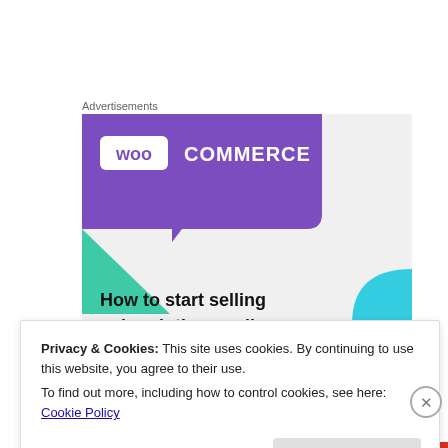Advertisements
[Figure (illustration): WooCommerce advertisement banner showing purple speech-bubble logo area with 'woo COMMERCE' branding, teal triangle shape lower left, blue arc shape lower right, on gray background. Text reads 'How to start selling subscriptions online']
Privacy & Cookies: This site uses cookies. By continuing to use this website, you agree to their use.
To find out more, including how to control cookies, see here: Cookie Policy
Close and accept